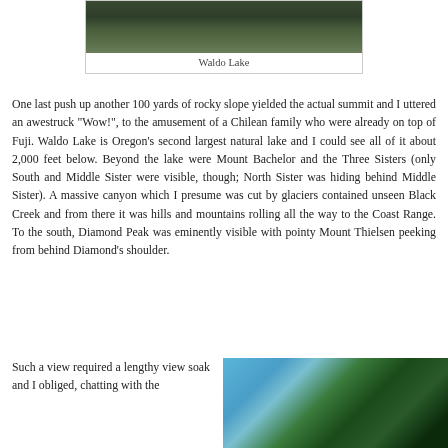[Figure (photo): Aerial or elevated view of Waldo Lake with forested mountainside]
Waldo Lake
One last push up another 100 yards of rocky slope yielded the actual summit and I uttered an awestruck "Wow!", to the amusement of a Chilean family who were already on top of Fuji. Waldo Lake is Oregon's second largest natural lake and I could see all of it about 2,000 feet below. Beyond the lake were Mount Bachelor and the Three Sisters (only South and Middle Sister were visible, though; North Sister was hiding behind Middle Sister). A massive canyon which I presume was cut by glaciers contained unseen Black Creek and from there it was hills and mountains rolling all the way to the Coast Range. To the south, Diamond Peak was eminently visible with pointy Mount Thielsen peeking from behind Diamond's shoulder.
Such a view required a lengthy view soak and I obliged, chatting with the
[Figure (photo): Forest scene with tall trees and blue sky visible through canopy]